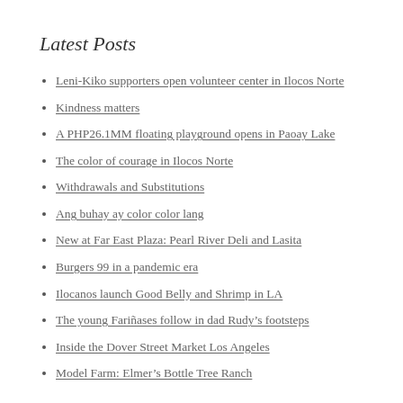Latest Posts
Leni-Kiko supporters open volunteer center in Ilocos Norte
Kindness matters
A PHP26.1MM floating playground opens in Paoay Lake
The color of courage in Ilocos Norte
Withdrawals and Substitutions
Ang buhay ay color color lang
New at Far East Plaza: Pearl River Deli and Lasita
Burgers 99 in a pandemic era
Ilocanos launch Good Belly and Shrimp in LA
The young Fariñases follow in dad Rudy's footsteps
Inside the Dover Street Market Los Angeles
Model Farm: Elmer's Bottle Tree Ranch